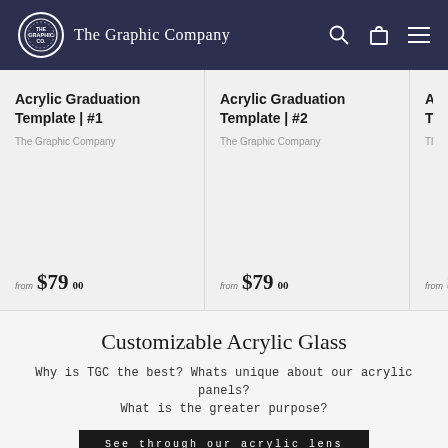The Graphic Company
Acrylic Graduation Template | #1
The Graphic Company
from $79.00
Acrylic Graduation Template | #2
The Graphic Company
from $79.00
Acrylic Graduation Template | #...
The Grap...
from $7...
Customizable Acrylic Glass
Why is TGC the best? Whats unique about our acrylic panels? What is the greater purpose?
See through our acrylic lens